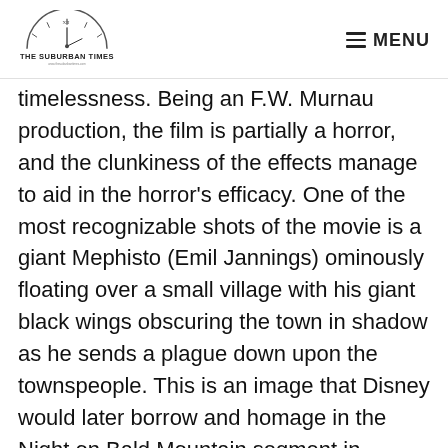THE SUBURBAN TIMES | MENU
timelessness. Being an F.W. Murnau production, the film is partially a horror, and the clunkiness of the effects manage to aid in the horror's efficacy. One of the most recognizable shots of the movie is a giant Mephisto (Emil Jannings) ominously floating over a small village with his giant black wings obscuring the town in shadow as he sends a plague down upon the townspeople. This is an image that Disney would later borrow and homage in the Night on Bald Mountain segment in Fantasia. Disney sure likes their stories…